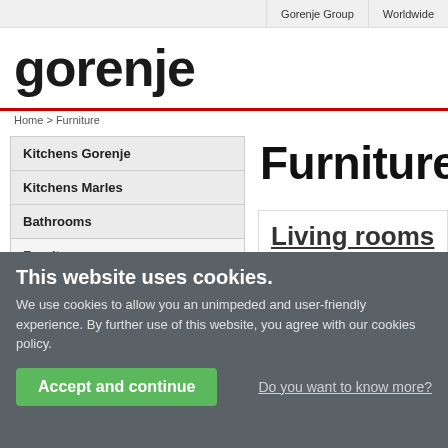Gorenje Group | Worldwide
[Figure (logo): Gorenje logo in bold black sans-serif text]
Home > Furniture
Kitchens Gorenje
Kitchens Marles
Bathrooms
Furniture (active)
Living rooms
Bedrooms
Childrens rooms
Teenagers' room
Entryways
Furniture
Living rooms
Bedrooms
Childrens rooms
This website uses cookies. We use cookies to allow you an unimpeded and user-friendly experience. By further use of this website, you agree with our cookies policy.
Accept and continue
Do you want to know more?